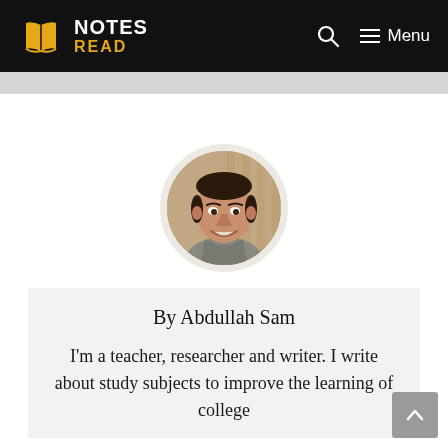NOTES READ — Menu
[Figure (photo): Circular profile photo of Abdullah Sam, a man smiling, wearing a patterned shirt, seated in what appears to be a restaurant or café setting.]
By Abdullah Sam
I'm a teacher, researcher and writer. I write about study subjects to improve the learning of college